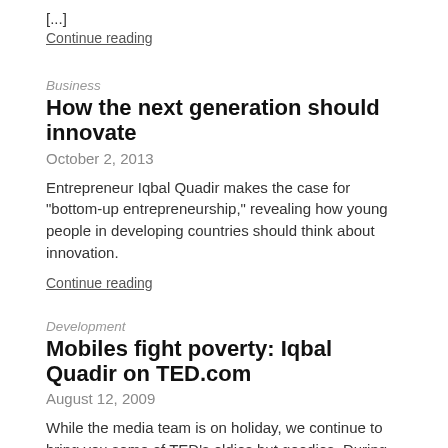[...]
Continue reading
Business
How the next generation should innovate
October 2, 2013
Entrepreneur Iqbal Quadir makes the case for "bottom-up entrepreneurship," revealing how young people in developing countries should think about innovation.
Continue reading
Development
Mobiles fight poverty: Iqbal Quadir on TED.com
August 12, 2009
While the media team is on holiday, we continue to bring you some of TED's oldies but goodies. During the two week break, we will post noteworthy talks that contain ideas still worth